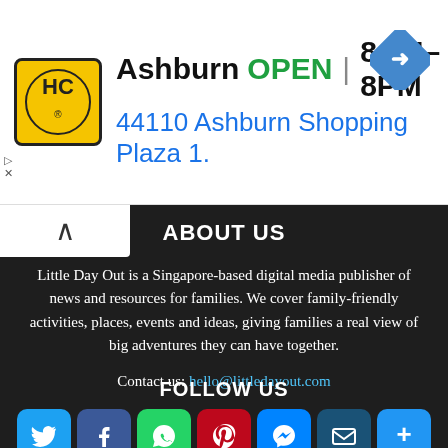[Figure (screenshot): Advertisement banner for Hairclub Ashburn showing logo, OPEN status (8AM-8PM), address 44110 Ashburn Shopping Plaza 1., and navigation icon]
ABOUT US
Little Day Out is a Singapore-based digital media publisher of news and resources for families. We cover family-friendly activities, places, events and ideas, giving families a real view of big adventures they can have together.
Contact us: hello@littledayout.com
FOLLOW US
[Figure (infographic): Row of social media icon buttons: Twitter (blue), Facebook (blue), WhatsApp (green), Pinterest (dark red), Messenger (blue), Email (dark blue), Share/Plus (blue)]